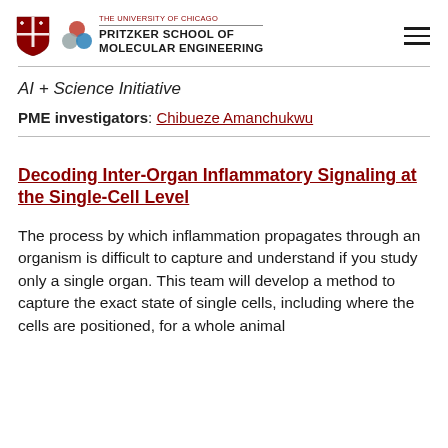THE UNIVERSITY OF CHICAGO PRITZKER SCHOOL OF MOLECULAR ENGINEERING
AI + Science Initiative
PME investigators: Chibueze Amanchukwu
Decoding Inter-Organ Inflammatory Signaling at the Single-Cell Level
The process by which inflammation propagates through an organism is difficult to capture and understand if you study only a single organ. This team will develop a method to capture the exact state of single cells, including where the cells are positioned, for a whole animal